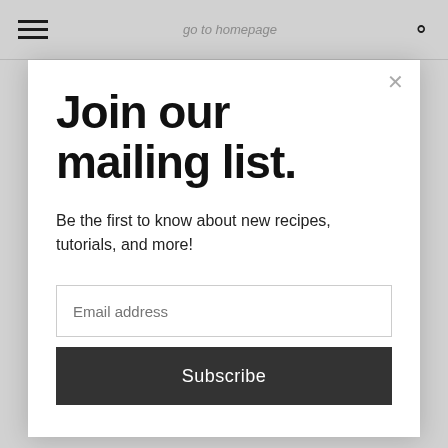go to homepage
Join our mailing list.
Be the first to know about new recipes, tutorials, and more!
Email address
Subscribe
1/2 Cup Onion
1/2 TBSP Sugar
1 TSP Salt